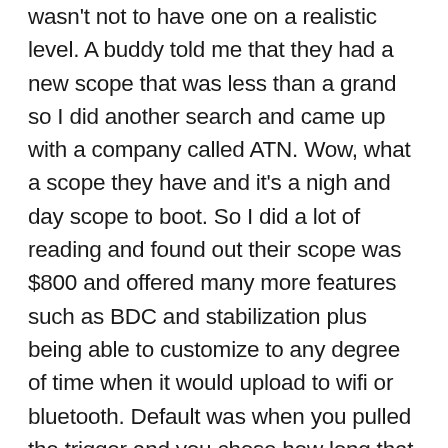wasn't not to have one on a realistic level. A buddy told me that they had a new scope that was less than a grand so I did another search and came up with a company called ATN. Wow, what a scope they have and it's a nigh and day scope to boot. So I did a lot of reading and found out their scope was $800 and offered many more features such as BDC and stabilization plus being able to customize to any degree of time when it would upload to wifi or bluetooth. Default was when you pulled the trigger and you chose how long that lasted. Now I am overcome with ATN ads. They now compete with the products I searched for on my pickup tune-up. Instead of one being replaced by another they just add on so soon your window is a bit of information and a whole lot of advertisements. I often leave my phone at home when I'm not working(gotta have it for that, a term